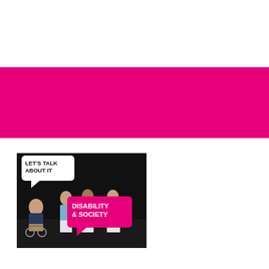[Figure (other): A solid magenta/hot-pink horizontal banner bar spanning the full width of the page.]
[Figure (photo): Theatrical performance photo on a dark stage showing four performers, one in a wheelchair. Overlaid speech bubbles read 'LET'S TALK ABOUT IT' (white bubble, top left) and 'DISABILITY & SOCIETY' (pink bubble, center right).]